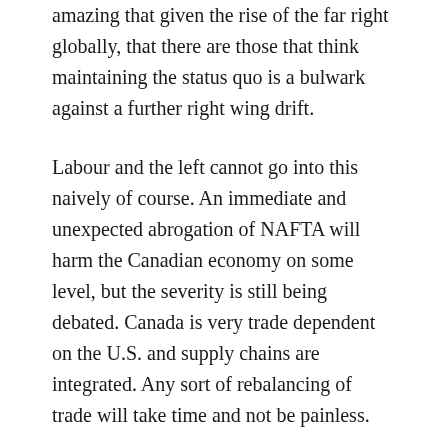amazing that given the rise of the far right globally, that there are those that think maintaining the status quo is a bulwark against a further right wing drift.
Labour and the left cannot go into this naively of course. An immediate and unexpected abrogation of NAFTA will harm the Canadian economy on some level, but the severity is still being debated. Canada is very trade dependent on the U.S. and supply chains are integrated. Any sort of rebalancing of trade will take time and not be painless.
And if NAFTA suddenly ceases to exist, there will be those voices arguing that Canada must slash taxes and regulation in order to attract new foreign